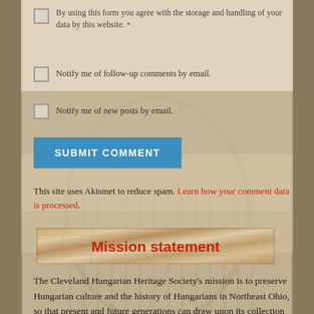By using this form you agree with the storage and handling of your data by this website. *
Notify me of follow-up comments by email.
Notify me of new posts by email.
SUBMIT COMMENT
This site uses Akismet to reduce spam. Learn how your comment data is processed.
[Figure (illustration): Wooden plank banner background with red 'Mission statement' heading text]
The Cleveland Hungarian Heritage Society's mission is to preserve Hungarian culture and the history of Hungarians in Northeast Ohio, so that present and future generations can draw upon its collection for